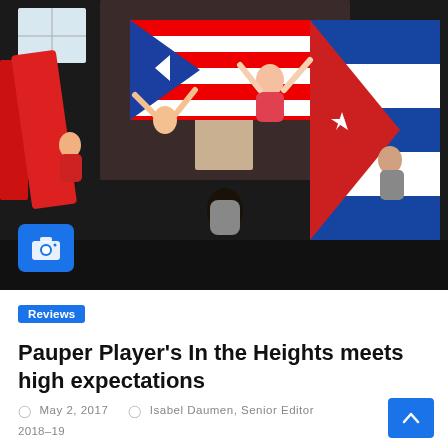[Figure (photo): Theater performance photo showing cast members holding Puerto Rican and Cuban flags on stage during a musical production, with performers in colorful costumes.]
Reviews
Pauper Player’s In the Heights meets high expectations
May 2, 2017  Isabel Daumen, Senior Editor 2018–19
Pauper players, UNC’s student-run musical